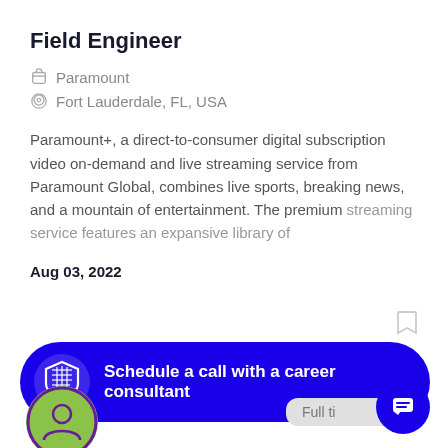Field Engineer
Paramount
Fort Lauderdale, FL, USA
Paramount+, a direct-to-consumer digital subscription video on-demand and live streaming service from Paramount Global, combines live sports, breaking news, and a mountain of entertainment. The premium streaming service features an expansive library of
Aug 03, 2022
Schedule a call with a career consultant
Full ti...